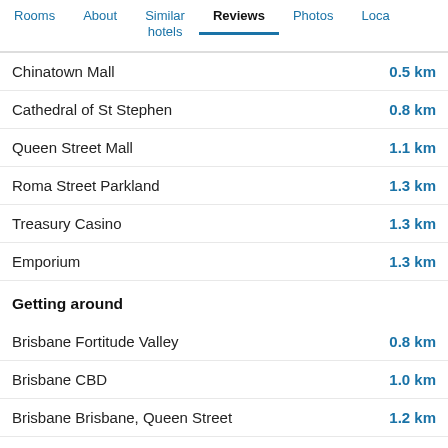Rooms | About | Similar hotels | Reviews | Photos | Loca...
Chinatown Mall — 0.5 km
Cathedral of St Stephen — 0.8 km
Queen Street Mall — 1.1 km
Roma Street Parkland — 1.3 km
Treasury Casino — 1.3 km
Emporium — 1.3 km
Getting around
Brisbane Fortitude Valley — 0.8 km
Brisbane CBD — 1.0 km
Brisbane Brisbane, Queen Street — 1.2 km
Brisbane Roma Street — 1.4 km
Brisbane Transit Centre — 1.4 km
Brisbane South Brisbane Station — 1.9 km